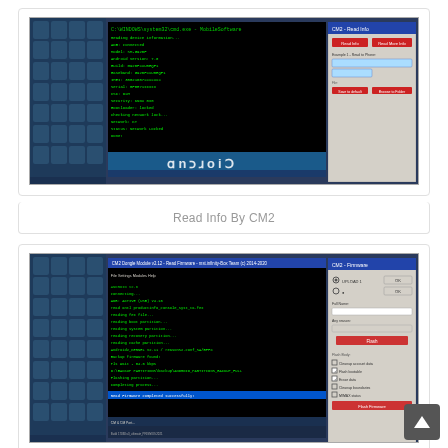[Figure (screenshot): Screenshot of Android device management software CM2 showing terminal output with green text on black background, a right panel with red buttons and fields, desktop icons on left, and Android logo banner at bottom.]
Read Info By CM2
[Figure (screenshot): Screenshot of Android device management software CM2 showing terminal output with green and blue highlighted text, a right panel with Flash Firmware options and red button, desktop icons on left.]
Read Firmware By CM2